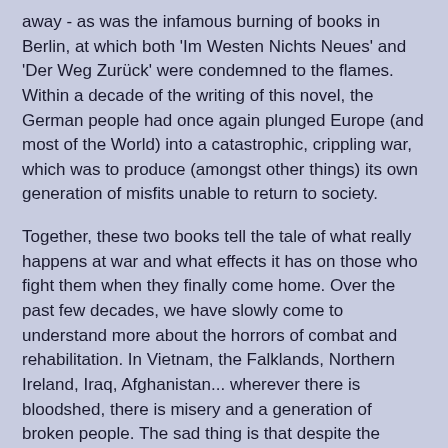away - as was the infamous burning of books in Berlin, at which both 'Im Westen Nichts Neues' and 'Der Weg Zurück' were condemned to the flames. Within a decade of the writing of this novel, the German people had once again plunged Europe (and most of the World) into a catastrophic, crippling war, which was to produce (amongst other things) its own generation of misfits unable to return to society.
Together, these two books tell the tale of what really happens at war and what effects it has on those who fight them when they finally come home. Over the past few decades, we have slowly come to understand more about the horrors of combat and rehabilitation. In Vietnam, the Falklands, Northern Ireland, Iraq, Afghanistan... wherever there is bloodshed, there is misery and a generation of broken people. The sad thing is that despite the information left for us by Remarque almost eighty years ago, we still struggle to understand the problems soldiers have when they try to find their way back home.
Unknown at 21:45